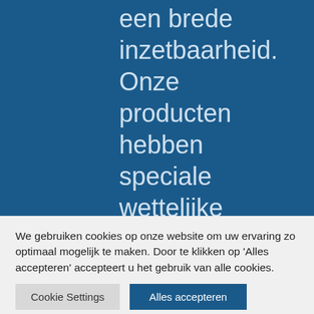een brede inzetbaarheid. Onze producten hebben speciale wettelijke toelatingen en keurmerken.
We gebruiken cookies op onze website om uw ervaring zo optimaal mogelijk te maken. Door te klikken op 'Alles accepteren' accepteert u het gebruik van alle cookies.
Cookie Settings  Alles accepteren